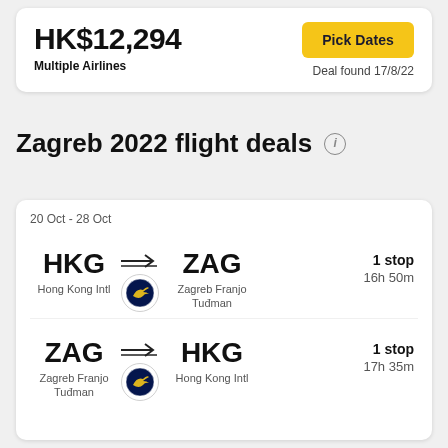HK$12,294
Multiple Airlines
Pick Dates
Deal found 17/8/22
Zagreb 2022 flight deals
20 Oct - 28 Oct
HKG → ZAG | Hong Kong Intl → Zagreb Franjo Tuđman | 1 stop | 16h 50m
ZAG → HKG | Zagreb Franjo Tuđman → Hong Kong Intl | 1 stop | 17h 35m